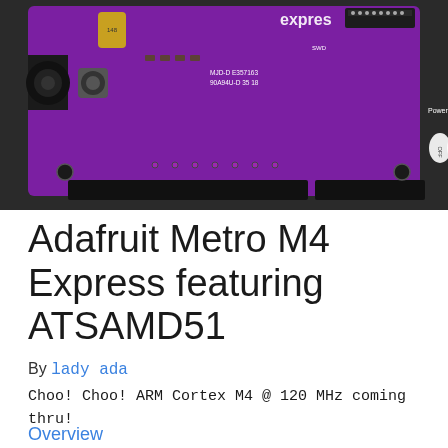[Figure (photo): Photo of Adafruit Metro M4 Express featuring ATSAMD51 development board — a purple PCB with various electronic components, connectors, power headers, and analog input pins visible on a dark background]
Adafruit Metro M4 Express featuring ATSAMD51
By lady ada
Choo! Choo! ARM Cortex M4 @ 120 MHz coming thru!
Overview
Update the UF2 Bootloader